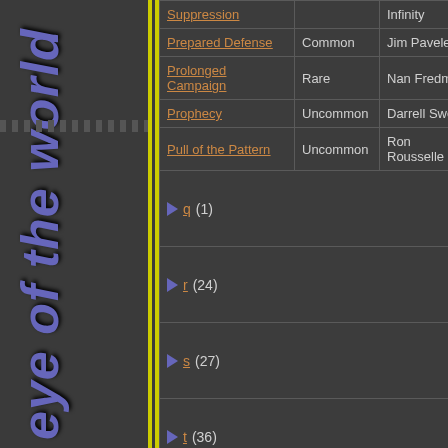[Figure (other): Vertical sidebar with rotated bold italic text reading 'eye of the world' in blue-purple color, flanked by yellow vertical lines and dotted texture bands]
| Name | Rarity | Artist | Type | Extra |
| --- | --- | --- | --- | --- |
| Suppression |  | Infinity |  |  |
| Prepared Defense | Common | Jim Pavelec | Event | Limite... |
| Prolonged Campaign | Rare | Nan Fredman | Challenge |  |
| Prophecy | Uncommon | Darrell Sweet | Event |  |
| Pull of the Pattern | Uncommon | Ron Rousselle | Event |  |
| ▶ q (1) |  |  |  |  |
| ▶ r (24) |  |  |  |  |
| ▶ s (27) |  |  |  |  |
| ▶ t (36) |  |  |  |  |
| ▼ u (1) |  |  |  |  |